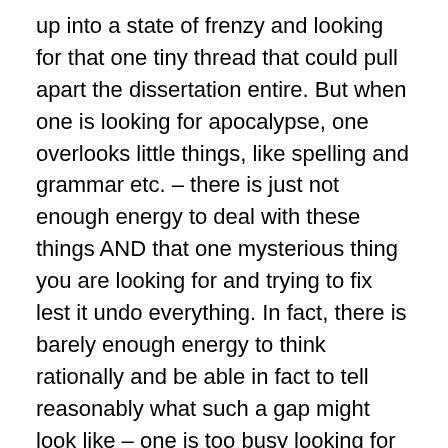up into a state of frenzy and looking for that one tiny thread that could pull apart the dissertation entire. But when one is looking for apocalypse, one overlooks little things, like spelling and grammar etc. – there is just not enough energy to deal with these things AND that one mysterious thing you are looking for and trying to fix lest it undo everything. In fact, there is barely enough energy to think rationally and be able in fact to tell reasonably what such a gap might look like – one is too busy looking for it to bother defining it.
So what was different the second time? There were no stakes. I couldn't change anything even if I wanted to. And so I could read more calmly and actually see my dissertation as it was rather than as an object of intense anxiety. The difference is that there was nothing I could do about it and consequently reading it – the the at-times